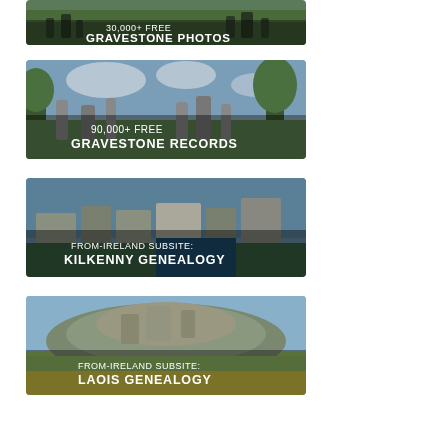[Figure (photo): Banner image of graveyard with text: 30,000+ FREE GRAVESTONE PHOTOS]
[Figure (photo): Banner image of graveyard with text: 90,000+ FREE GRAVESTONE RECORDS]
[Figure (photo): Aerial banner image of Kilkenny with text: FROM-IRELAND SUBSITE: KILKENNY GENEALOGY]
[Figure (photo): Landscape banner image with text: FROM-IRELAND SUBSITE: LAOIS GENEALOGY]